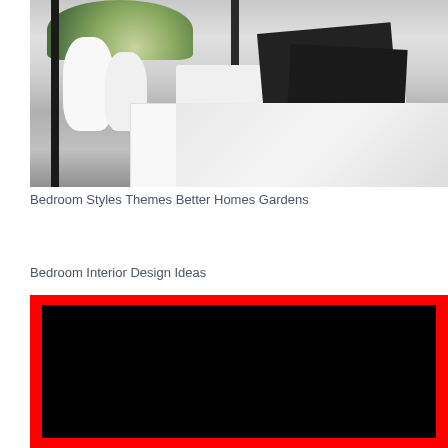[Figure (photo): Black and white bedroom photo featuring a dark wooden bed frame with white bedding, black and white patterned pillows, white vases with white lilies on a white nightstand, and flowers in the background.]
Bedroom Styles Themes Better Homes Gardens
Bedroom Interior Design Ideas
[Figure (photo): Red bordered image with a black center, possibly a video thumbnail placeholder or a decorative bedroom interior image.]